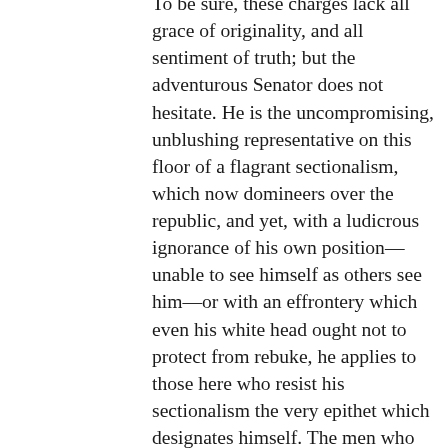To be sure, these charges lack all grace of originality, and all sentiment of truth; but the adventurous Senator does not hesitate. He is the uncompromising, unblushing representative on this floor of a flagrant sectionalism, which now domineers over the republic, and yet, with a ludicrous ignorance of his own position—unable to see himself as others see him—or with an effrontery which even his white head ought not to protect from rebuke, he applies to those here who resist his sectionalism the very epithet which designates himself. The men who strive to bring, back the government to its original policy, when freedom and not slavery was sectional, he